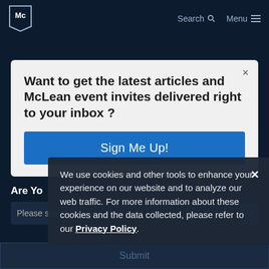McLean Hospital — Search  Menu
Want to get the latest articles and McLean event invites delivered right to your inbox ?
Sign Me Up!
Are Yo...
Please select...
We use cookies and other tools to enhance your experience on our website and to analyze our web traffic. For more information about these cookies and the data collected, please refer to our Privacy Policy.
Submit